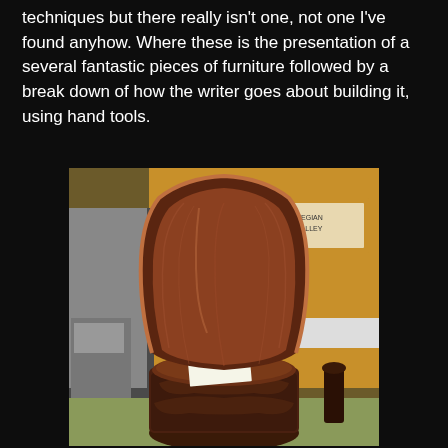techniques but there really isn't one, not one I've found anyhow. Where these is the presentation of a several fantastic pieces of furniture followed by a break down of how the writer goes about building it, using hand tools.
[Figure (photo): A large carved wooden chair with a curved barrel back, smooth seat, and ornately carved cylindrical base, displayed in what appears to be a museum setting with a label card on the seat. A sign reading 'NORWEGIAN' and 'DON VALLEY' is visible in the background.]